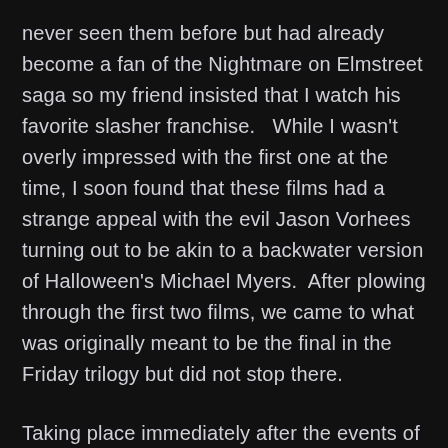never seen them before but had already become a fan of the Nightmare on Elmstreet saga so my friend insisted that I watch his favorite slasher franchise.   While I wasn't overly impressed with the first one at the time, I soon found that these films had a strange appeal with the evil Jason Vorhees turning out to be akin to a backwater version of Halloween's Michael Myers.  After plowing through the first two films, we came to what was originally meant to be the final in the Friday trilogy but did not stop there.

Taking place immediately after the events of Part 2, Part 2 picks up with a wounded and mask-less